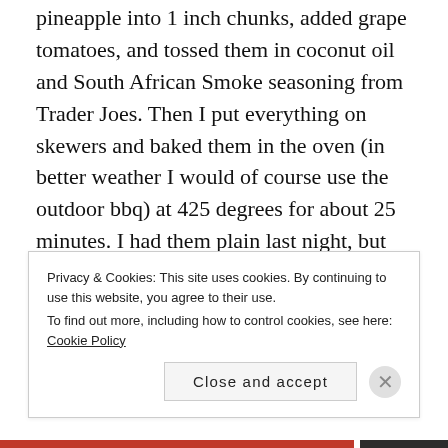pineapple into 1 inch chunks, added grape tomatoes, and tossed them in coconut oil and South African Smoke seasoning from Trader Joes. Then I put everything on skewers and baked them in the oven (in better weather I would of course use the outdoor bbq) at 425 degrees for about 25 minutes. I had them plain last night, but will be eating the leftovers on salad later today.
Top right: This was a car lunch again. The night before I marinated a grass fed beef inside round steak in lime juice, garlic, salt, pepper and cumin. In the morning I
Privacy & Cookies: This site uses cookies. By continuing to use this website, you agree to their use.
To find out more, including how to control cookies, see here: Cookie Policy